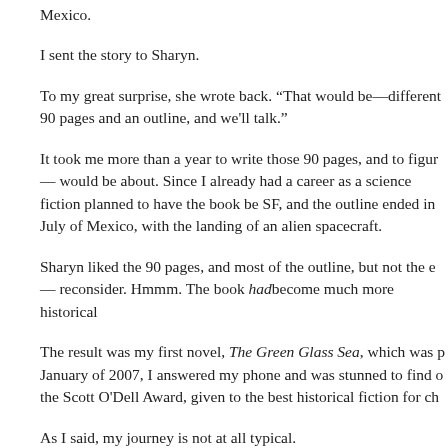Mexico.
I sent the story to Sharyn.
To my great surprise, she wrote back. “That would be—different 90 pages and an outline, and we’ll talk.”
It took me more than a year to write those 90 pages, and to figure out what the book would be about. Since I already had a career as a science fiction writer, I originally planned to have the book be SF, and the outline ended in July of 1945, in New Mexico, with the landing of an alien spacecraft.
Sharyn liked the 90 pages, and most of the outline, but not the ending. I had to reconsider. Hmmm. The book had become much more historical
The result was my first novel, The Green Glass Sea, which was published in January of 2007, I answered my phone and was stunned to find out it had won the Scott O’Dell Award, given to the best historical fiction for ch
As I said, my journey is not at all typical.